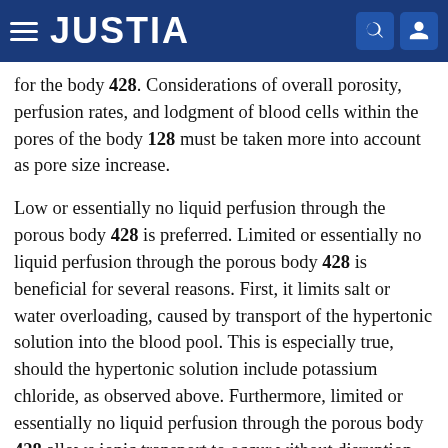JUSTIA
for the body 428. Considerations of overall porosity, perfusion rates, and lodgment of blood cells within the pores of the body 128 must be taken more into account as pore size increase.
Low or essentially no liquid perfusion through the porous body 428 is preferred. Limited or essentially no liquid perfusion through the porous body 428 is beneficial for several reasons. First, it limits salt or water overloading, caused by transport of the hypertonic solution into the blood pool. This is especially true, should the hypertonic solution include potassium chloride, as observed above. Furthermore, limited or essentially no liquid perfusion through the porous body 428 allows ionic transport to occur without disruption. When undisturbed by attendant liquid perfusion, ionic transport creates a continuous virtual electrode at the